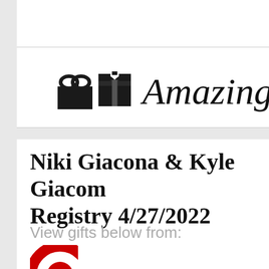[Figure (logo): Amazing Registry logo with a gift box icon on the left and cursive 'Amazing R...' text on the right]
Niki Giacona & Kyle Giacom... Registry 4/27/2022
View gifts below from:
[Figure (logo): Target logo (partial red bullseye circle visible at bottom)]